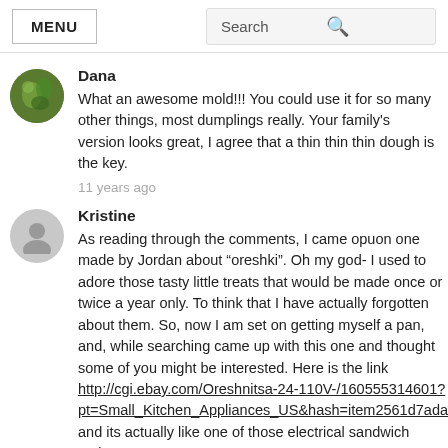MENU   Search
Dana
What an awesome mold!!! You could use it for so many other things, most dumplings really. Your family's version looks great, I agree that a thin thin thin dough is the key.
11 years ago
Kristine
As reading through the comments, I came opuon one made by Jordan about "oreshki". Oh my god- I used to adore those tasty little treats that would be made once or twice a year only. To think that I have actually forgotten about them. So, now I am set on getting myself a pan, and, while searching came up with this one and thought some of you might be interested. Here is the link http://cgi.ebay.com/Oreshnitsa-24-110V-/160555314601?pt=Small_Kitchen_Appliances_US&hash=item2561d7ada9 and its actually like one of those electrical sandwich makers. It